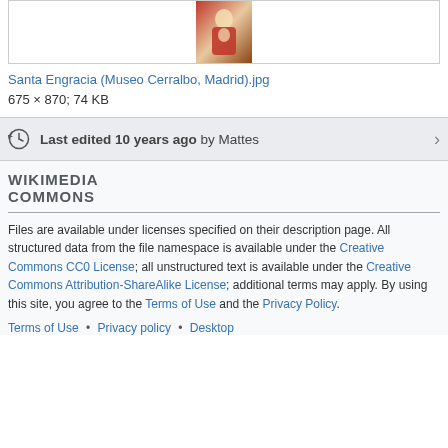[Figure (photo): Partial view of a painting of Santa Engracia (religious icon) - top portion visible]
Santa Engracia (Museo Cerralbo, Madrid).jpg
675 × 870; 74 KB
Last edited 10 years ago by Mattes
WIKIMEDIA
COMMONS
Files are available under licenses specified on their description page. All structured data from the file namespace is available under the Creative Commons CC0 License; all unstructured text is available under the Creative Commons Attribution-ShareAlike License; additional terms may apply. By using this site, you agree to the Terms of Use and the Privacy Policy.
Terms of Use • Privacy policy • Desktop